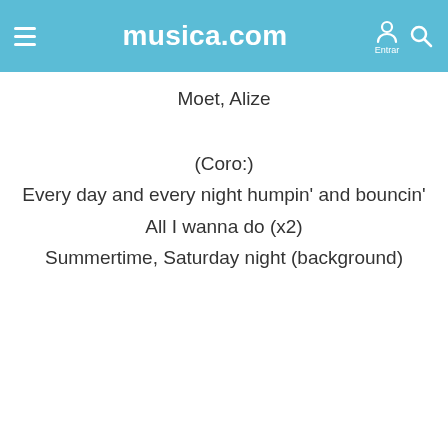musica.com
Moet, Alize
(Coro:)
Every day and every night humpin' and bouncin'
All I wanna do (x2)
Summertime, Saturday night (background)